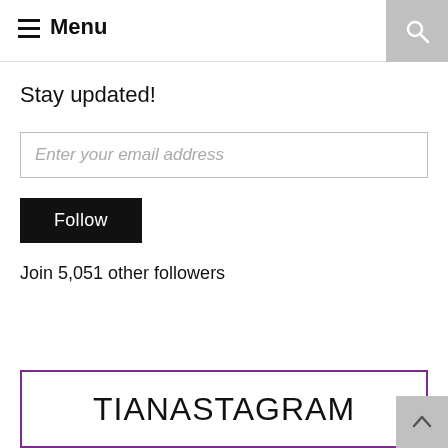≡ Menu
Stay updated!
[Figure (screenshot): Email input field with placeholder text 'Enter your email address']
Follow
Join 5,051 other followers
TIANASTAGRAM